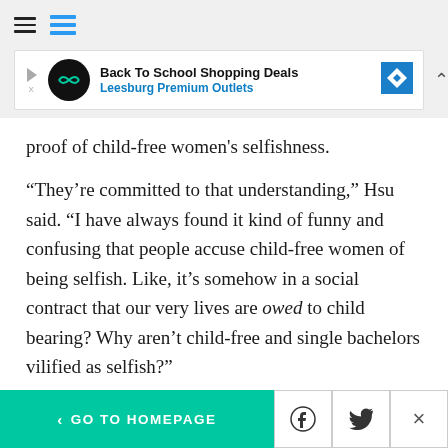HuffPost navigation header with hamburger menu and logo
[Figure (other): Advertisement banner: Back To School Shopping Deals – Leesburg Premium Outlets]
proof of child-free women's selfishness.
“They’re committed to that understanding,” Hsu said. “I have always found it kind of funny and confusing that people accuse child-free women of being selfish. Like, it’s somehow in a social contract that our very lives are owed to child bearing? Why aren’t child-free and single bachelors vilified as selfish?”
For what it’s worth, she’s having a great time as an
< GO TO HOMEPAGE | Facebook share | Twitter share | Close